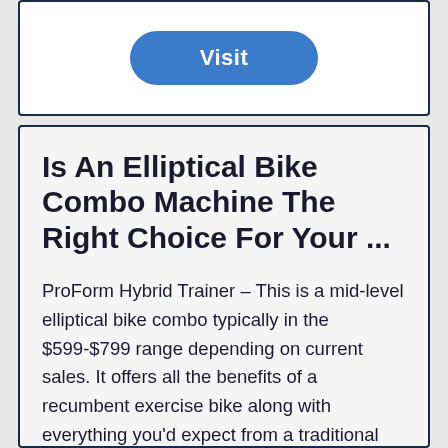[Figure (other): A blue rounded button labeled 'Visit' inside a white card with dark border]
Is An Elliptical Bike Combo Machine The Right Choice For Your ...
ProForm Hybrid Trainer – This is a mid-level elliptical bike combo typically in the $599-$799 range depending on current sales. It offers all the benefits of a recumbent exercise bike along with everything you'd expect from a traditional elliptical. You can seamlessly switch between the two with easily adjustable pedals and console, so that ...